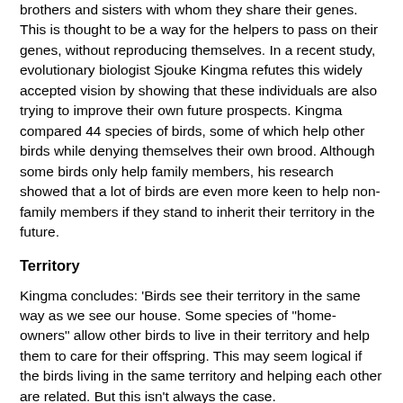brothers and sisters with whom they share their genes. This is thought to be a way for the helpers to pass on their genes, without reproducing themselves. In a recent study, evolutionary biologist Sjouke Kingma refutes this widely accepted vision by showing that these individuals are also trying to improve their own future prospects. Kingma compared 44 species of birds, some of which help other birds while denying themselves their own brood. Although some birds only help family members, his research showed that a lot of birds are even more keen to help non-family members if they stand to inherit their territory in the future.
Territory
Kingma concludes: 'Birds see their territory in the same way as we see our house. Some species of "home-owners" allow other birds to live in their territory and help them to care for their offspring. This may seem logical if the birds living in the same territory and helping each other are related. But this isn't always the case.